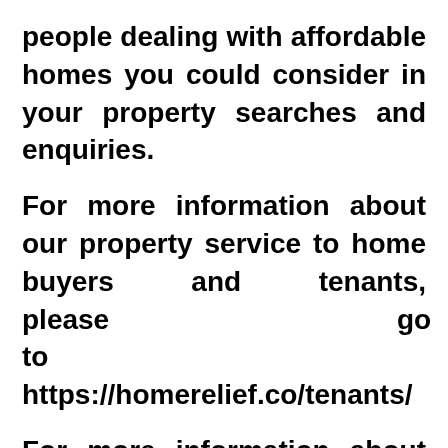people dealing with affordable homes you could consider in your property searches and enquiries.

For more information about our property service to home buyers and tenants, please go to https://homerelief.co/tenants/

For more information about our property service to home sellers and